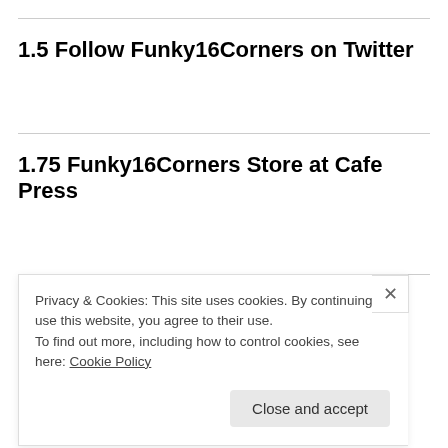1.5 Follow Funky16Corners on Twitter
1.75 Funky16Corners Store at Cafe Press
2. 2004 - 2006 BLOG ARCHIVES
Privacy & Cookies: This site uses cookies. By continuing to use this website, you agree to their use.
To find out more, including how to control cookies, see here: Cookie Policy